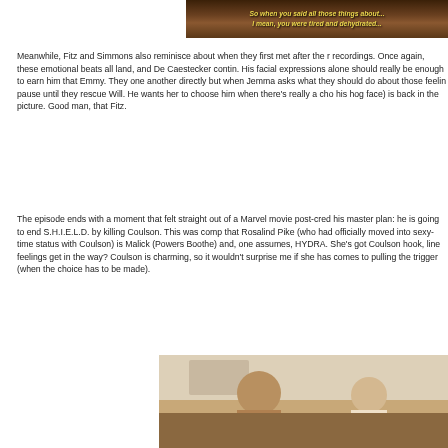[Figure (screenshot): TV screenshot with yellow italic text overlay reading: 'So when you said all those things about... I mean, you were tired and dehydrated...' on a dark brownish background]
Meanwhile, Fitz and Simmons also reminisce about when they first met after the recordings. Once again, these emotional beats all land, and De Caestecker contin. His facial expressions alone should really be enough to earn him that Emmy. They one another directly but when Jemma asks what they should do about those feeli pause until they rescue Will. He wants her to choose him when there's really a ch his hog face) is back in the picture. Good man, that Fitz.
The episode ends with a moment that felt straight out of a Marvel movie post-cred his master plan: he is going to end S.H.I.E.L.D. by killing Coulson. This was comp that Rosalind Pike (who had officially moved into sexy-time status with Coulson) is Malick (Powers Boothe) and, one assumes, HYDRA. She's got Coulson hook, line feelings get in the way? Coulson is charming, so it wouldn't surprise me if she has comes to pulling the trigger (when the choice has to be made).
[Figure (screenshot): TV screenshot showing two people facing each other in a room with warm lighting - one with dark hair on the left, one bald on the right]